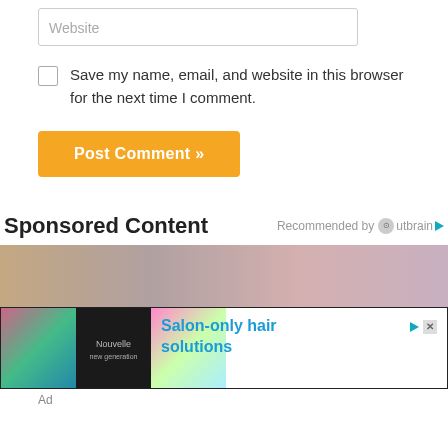Website (input field placeholder)
Save my name, email, and website in this browser for the next time I comment.
Post Comment »
Sponsored Content
Recommended by Outbrain
[Figure (photo): Advertisement banner showing colorful hair salon images with text 'Salon-only hair solutions' by Nouvelle new generation]
Ad